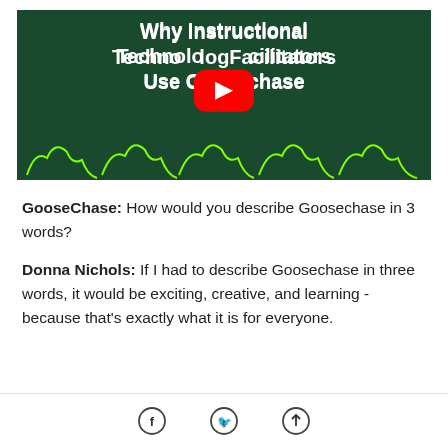[Figure (screenshot): YouTube video thumbnail with dark green background showing title 'Why Instructional Technology Facilitators Use Goosechase' with YouTube play button and green goose outlines at the bottom]
GooseChase: How would you describe Goosechase in 3 words?
Donna Nichols: If I had to describe Goosechase in three words, it would be exciting, creative, and learning - because that's exactly what it is for everyone.
Facebook share | Twitter share | Share/Upload